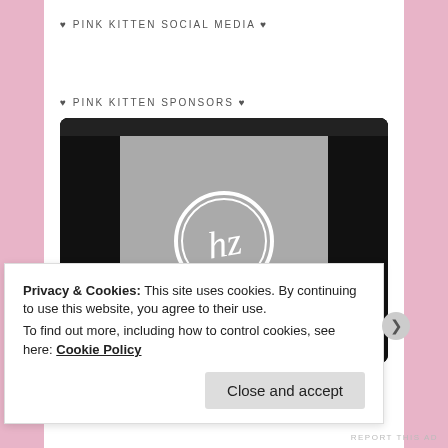♥ PINK KITTEN SOCIAL MEDIA ♥
♥ PINK KITTEN SPONSORS ♥
[Figure (screenshot): Screenshot of a sponsor image on a laptop/tablet frame showing the Hazel brand logo — a circular monogram mark over grey background with 'HAZEL' text at the bottom, displayed inside a black device frame.]
Privacy & Cookies: This site uses cookies. By continuing to use this website, you agree to their use.
To find out more, including how to control cookies, see here: Cookie Policy
Close and accept
REPORT THIS AD